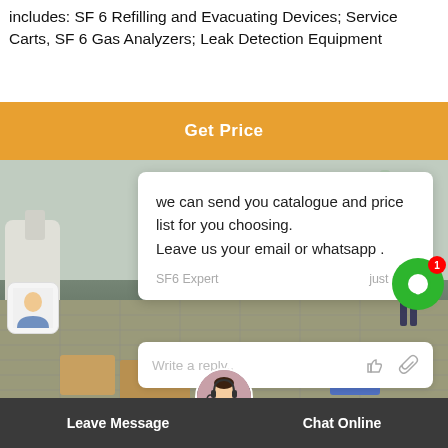includes: SF 6 Refilling and Evacuating Devices; Service Carts, SF 6 Gas Analyzers; Leak Detection Equipment
[Figure (screenshot): Orange 'Get Price' banner button]
[Figure (screenshot): Chat popup overlay with message: 'we can send you catalogue and price list for you choosing. Leave us your email or whatsapp .' from SF6 Expert, just now. Reply box with placeholder 'Write a reply..' and like/attachment icons. Green notification bubble with count 1. Industrial equipment photo in background. Bottom bar with Leave Message and Chat Online options.]